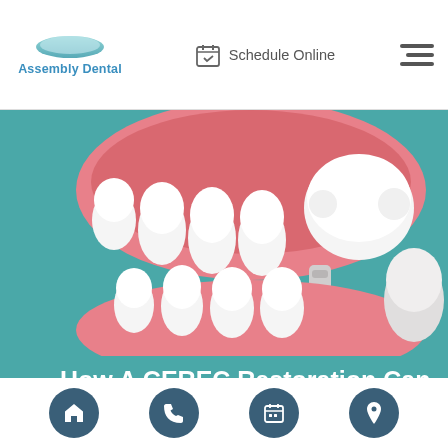Assembly Dental — Schedule Online
[Figure (illustration): 3D dental illustration showing a dental crown being placed on a tooth molar with pink gum base and multiple white teeth visible]
How A CEREC Restoration Can Help A Damaged Tooth
Everyone deserves a happy, healthy smile, and with a CEREC® restoration, damaged teeth no longer
Navigation icons: home, phone, calendar, location